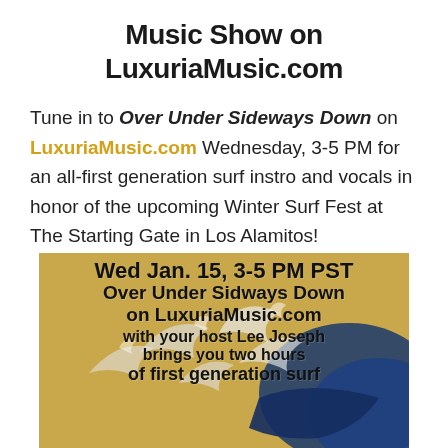Music Show on LuxuriaMusic.com
Tune in to Over Under Sideways Down on LuxuriaMusic.com Wednesday, 3-5 PM for an all-first generation surf instro and vocals in honor of the upcoming Winter Surf Fest at The Starting Gate in Los Alamitos!
[Figure (illustration): Promotional flyer image with wave artwork background (Hokusai style) and bold black text reading: Wed Jan. 15, 3-5 PM PST / Over Under Sidways Down / on LuxuriaMusic.com / with your host Lee Joseph / brings you two hours / of first generation surf]